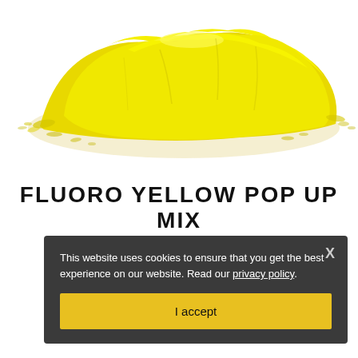[Figure (photo): A pile of bright fluorescent yellow powder on a white background, viewed from the side, heap shape with scattered particles around the edges.]
FLUORO YELLOW POP UP MIX
This website uses cookies to ensure that you get the best experience on our website. Read our privacy policy.
I accept